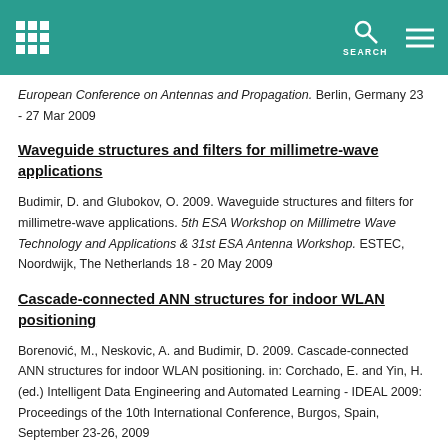SEARCH
European Conference on Antennas and Propagation. Berlin, Germany 23 - 27 Mar 2009
Waveguide structures and filters for millimetre-wave applications
Budimir, D. and Glubokov, O. 2009. Waveguide structures and filters for millimetre-wave applications. 5th ESA Workshop on Millimetre Wave Technology and Applications & 31st ESA Antenna Workshop. ESTEC, Noordwijk, The Netherlands 18 - 20 May 2009
Cascade-connected ANN structures for indoor WLAN positioning
Borenović, M., Neskovic, A. and Budimir, D. 2009. Cascade-connected ANN structures for indoor WLAN positioning. in: Corchado, E. and Yin, H. (ed.) Intelligent Data Engineering and Automated Learning - IDEAL 2009: Proceedings of the 10th International Conference, Burgos, Spain, September 23-26, 2009